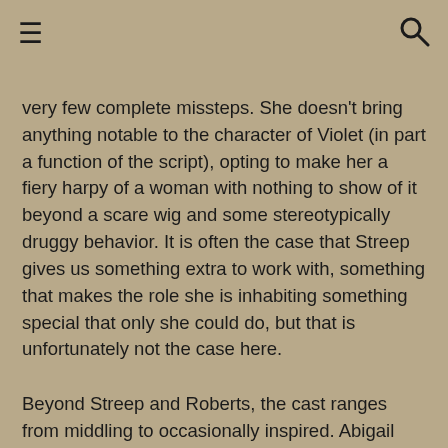≡  🔍
very few complete missteps. She doesn't bring anything notable to the character of Violet (in part a function of the script), opting to make her a fiery harpy of a woman with nothing to show of it beyond a scare wig and some stereotypically druggy behavior. It is often the case that Streep gives us something extra to work with, something that makes the role she is inhabiting something special that only she could do, but that is unfortunately not the case here.
Beyond Streep and Roberts, the cast ranges from middling to occasionally inspired. Abigail Breslin doesn't have much to do with her generally clichéd mischievous teen, and Dermot Mulroney is similarly undercooked. On the other side of things, Chris Cooper and Margo Martindale are excellent at giving us another perspective on the older class, while also showing the similarities between the two sisters. Unfortunately, we do have to